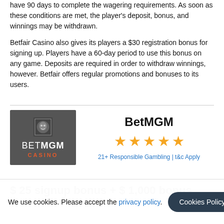have 90 days to complete the wagering requirements. As soon as these conditions are met, the player's deposit, bonus, and winnings may be withdrawn.
Betfair Casino also gives its players a $30 registration bonus for signing up. Players have a 60-day period to use this bonus on any game. Deposits are required in order to withdraw winnings, however. Betfair offers regular promotions and bonuses to its users.
BetMGM
[Figure (logo): BetMGM Casino logo on dark grey background with lion icon]
★★★★★
21+ Responsible Gambling | t&c Apply
$ 25 signup bonus + $ 1,000 bonus.
We use cookies. Please accept the privacy policy.
Cookies Policy
✔ I accept